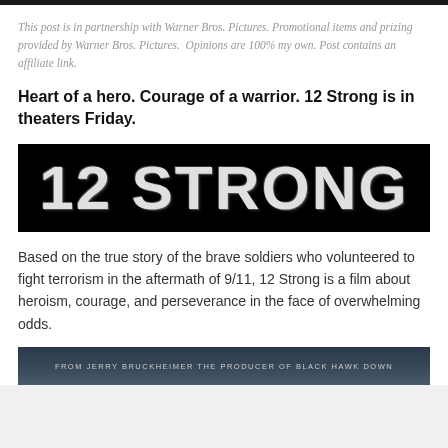This post is in partnership with Warner Bros. Pictures. Promotional items and prizing provided by Warner Bros. Pictures.  Opinions are 100% my own. Post contains an affiliate link.
Heart of a hero. Courage of a warrior. 12 Strong is in theaters Friday.
[Figure (logo): 12 STRONG movie logo — large bold white distressed text on black background]
Based on the true story of the brave soldiers who volunteered to fight terrorism in the aftermath of 9/11, 12 Strong is a film about heroism, courage, and perseverance in the face of overwhelming odds.
[Figure (photo): Bottom portion of movie promotional image showing text: FROM JERRY BRUCKHEIMER THE PRODUCER OF BLACK HAWK DOWN]